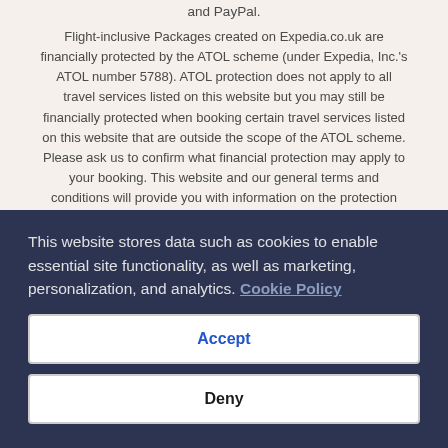and PayPal.
Flight-inclusive Packages created on Expedia.co.uk are financially protected by the ATOL scheme (under Expedia, Inc.'s ATOL number 5788). ATOL protection does not apply to all travel services listed on this website but you may still be financially protected when booking certain travel services listed on this website that are outside the scope of the ATOL scheme. Please ask us to confirm what financial protection may apply to your booking. This website and our general terms and conditions will provide you with information on the protection that applies in the case of each travel service offered before you make your booking. If you do not receive an ATOL Certificate then the booking will not be ATOL protected. If you do receive an ATOL Certificate but all the parts of your trip are not listed on it, those parts will not be ATOL protected.
For Packages that do not include a flight or Linked Travel Arrangements created on Expedia.co.uk, all monies paid over in the case of non flight...
This website stores data such as cookies to enable essential site functionality, as well as marketing, personalization, and analytics. Cookie Policy
Accept
Deny